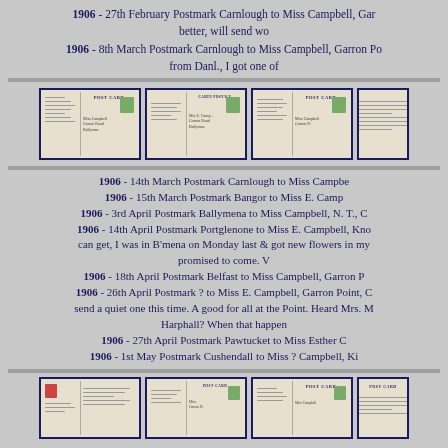1906 - 27th February Postmark Carnlough to Miss Campbell, Gar... better, will send wo...
1906 - 8th March Postmark Carnlough to Miss Campbell, Garron Po... from Danl., I got one of
[Figure (photo): Row of four postcard back images showing handwritten text and green stamps, with POST CARD headers]
1906 - 14th March Postmark Carnlough to Miss Campbe...
1906 - 15th March Postmark Bangor to Miss E. Camp...
1906 - 3rd April Postmark Ballymena to Miss Campbell, N. T., C...
1906 - 14th April Postmark Portglenone to Miss E. Campbell, Kno... can get, I was in B'mena on Monday last & got new flowers in my... promised to come. V...
1906 - 18th April Postmark Belfast to Miss Campbell, Garron P...
1906 - 26th April Postmark ? to Miss E. Campbell, Garron Point, C... send a quiet one this time. A good for all at the Point. Heard Mrs. M... Harphall? When that happen...
1906 - 27th April Postmark Pawtucket to Miss Esther C...
1906 - 1st May Postmark Cushendall to Miss ? Campbell, Ki...
[Figure (photo): Row of four postcard back images at bottom of page showing handwritten text and green stamps]